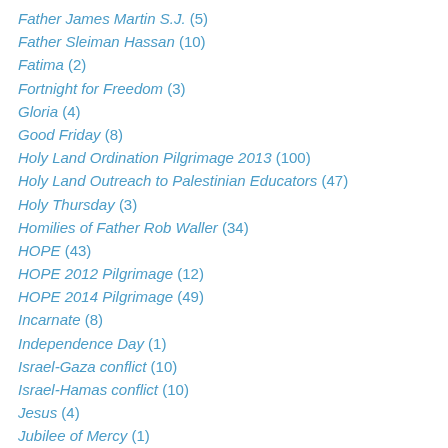Father James Martin S.J. (5)
Father Sleiman Hassan (10)
Fatima (2)
Fortnight for Freedom (3)
Gloria (4)
Good Friday (8)
Holy Land Ordination Pilgrimage 2013 (100)
Holy Land Outreach to Palestinian Educators (47)
Holy Thursday (3)
Homilies of Father Rob Waller (34)
HOPE (43)
HOPE 2012 Pilgrimage (12)
HOPE 2014 Pilgrimage (49)
Incarnate (8)
Independence Day (1)
Israel-Gaza conflict (10)
Israel-Hamas conflict (10)
Jesus (4)
Jubilee of Mercy (1)
Kairos Palestine (1)